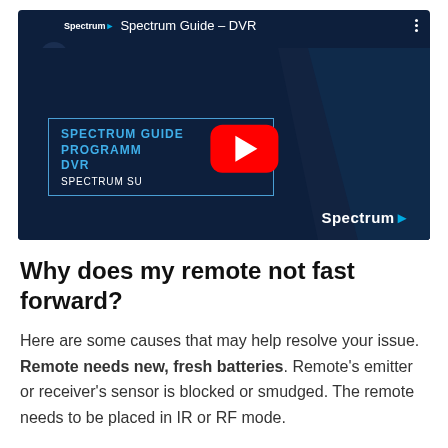[Figure (screenshot): YouTube video thumbnail for 'Spectrum Guide – DVR' showing a dark blue background with 'SPECTRUM GUIDE PROGRAMMING YOUR DVR SPECTRUM SUPPORT' text overlay in a bordered box, a red YouTube play button in the center, and the Spectrum logo at bottom right.]
Why does my remote not fast forward?
Here are some causes that may help resolve your issue. Remote needs new, fresh batteries. Remote's emitter or receiver's sensor is blocked or smudged. The remote needs to be placed in IR or RF mode.